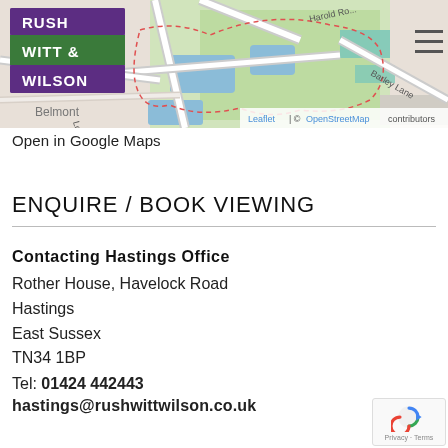[Figure (map): OpenStreetMap showing Belmont area with roads including Harold Road, Lodge Road, Barley Lane. Shows green park area, blue water features (ponds), and a red dashed boundary path. Rush Witt & Wilson logo in top-left corner. Hamburger menu icon top-right. Leaflet / OpenStreetMap attribution bottom-right.]
Open in Google Maps
ENQUIRE / BOOK VIEWING
Contacting Hastings Office
Rother House, Havelock Road
Hastings
East Sussex
TN34 1BP
Tel: 01424 442443
hastings@rushwittwilson.co.uk